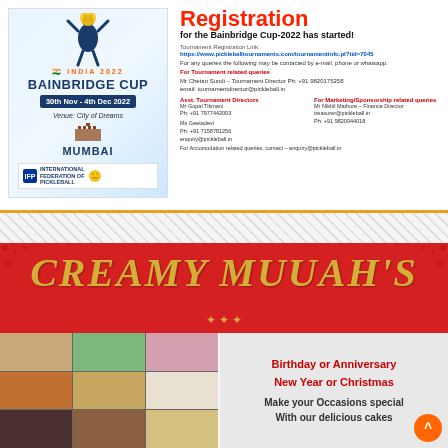[Figure (infographic): Bainbridge Cup 2022 India pickleball tournament logo with player silhouette, India flag colors, Mumbai venue, and International Federation of Pickleball logo]
Registration
for the Bainbridge Cup-2022 has started!
Tournament Registration Link:
https://www.pickleballtournaments.com/tournamentinfo.pl?tid=7045
For any queries the following may be contacted by e-mail, phone or whatsapp.
For Tournament related queries
Mr Chetan Sundi – Tournament Director Ph: +91 9820175258
email: tournamentdirector@pickleball.in
Asst. Tournament Directors
For Marketing/Sponsorship related queries
Mr Gopal Tikmani
Ph: +91 7977442003
Mr Nikhil Mathure – Finance Director
treasurer@pickleball.in
Ph: +91 9820044018
Ms Geetadevi
Ph: +91 7158781256
enquiry@pickleball.in
For Accomodation related queries, contact – enquiry@pickleball.in
[Figure (infographic): Creamy Muuah's bakery advertisement with red banner, gold decorative title text, food photos on left showing cakes and desserts, and promotional text on right]
CREAMY MUUAH'S
Birthday or Anniversary
New Year or Christmas

Make your Occasions special
With our delicious cakes

We make them with all safety measures...